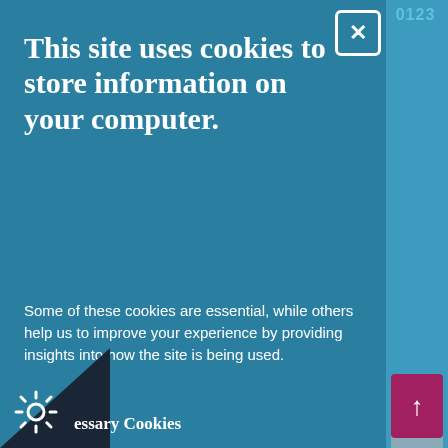This site uses cookies to store information on your computer.
Some of these cookies are essential, while others help us to improve your experience by providing insights into how the site is being used.
I Accept Cookies
I Do Not Accept Cookies
essary Cookies